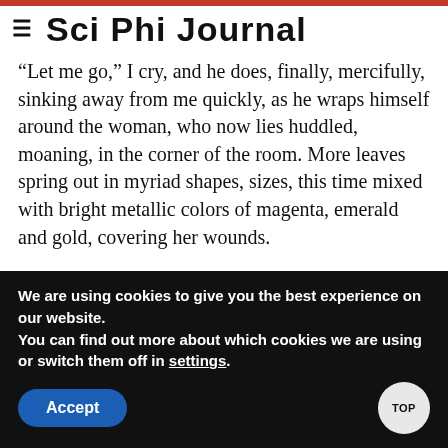Sci Phi Journal
“Let me go,” I cry, and he does, finally, mercifully, sinking away from me quickly, as he wraps himself around the woman, who now lies huddled, moaning, in the corner of the room. More leaves spring out in myriad shapes, sizes, this time mixed with bright metallic colors of magenta, emerald and gold, covering her wounds.
Sanderson and the guards come rushing in to see me standing there, still grasping the bloody pen. I assure them, as I clamor for breath, that I have the situation well in hand,
We are using cookies to give you the best experience on our website.
You can find out more about which cookies we are using or switch them off in settings.